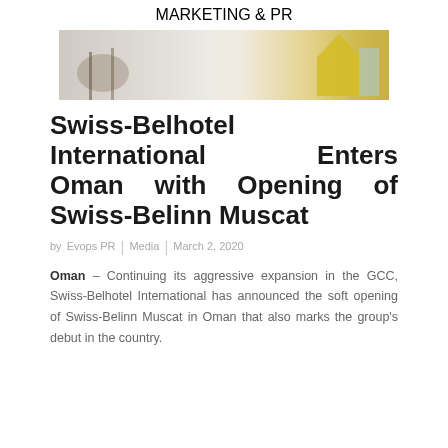MARKETING & PR
[Figure (photo): Hotel interior photo showing a lounge area with a round wooden coffee table on black metal legs, a patterned rug, and a yellow chair on the right side, with a light neutral-toned floor and wall.]
Swiss-Belhotel International Enters Oman with Opening of Swiss-Belinn Muscat
by Evops PR | Media | March 2, 2020
Oman – Continuing its aggressive expansion in the GCC, Swiss-Belhotel International has announced the soft opening of Swiss-Belinn Muscat in Oman that also marks the group's debut in the country.